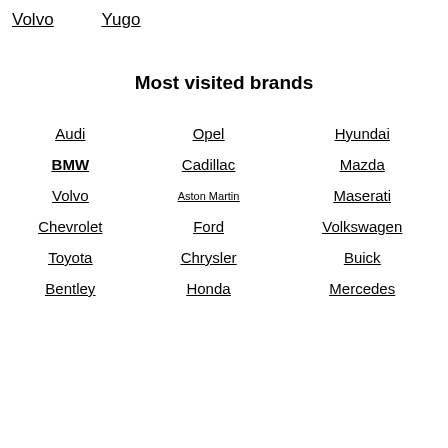Volvo   Yugo
Most visited brands
Audi
Opel
Hyundai
BMW
Cadillac
Mazda
Volvo
Aston Martin
Maserati
Chevrolet
Ford
Volkswagen
Toyota
Chrysler
Buick
Bentley
Honda
Mercedes